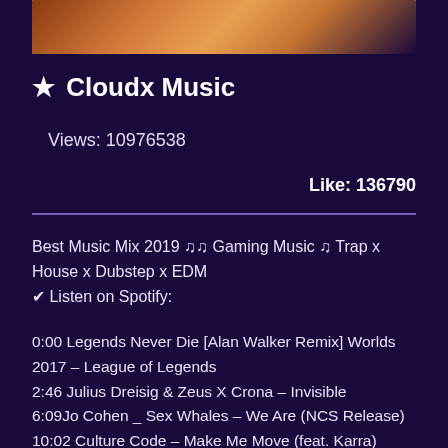[Figure (photo): Partial thumbnail image of a fantasy/gaming character with orange and warm toned background, cropped at top of page]
★ Cloudx Music
Views: 10976538
Like: 136790
Best Music Mix 2019 ♫♫ Gaming Music ♫ Trap x House x Dubstep x EDM
✔ Listen on Spotify:
0:00 Legends Never Die [Alan Walker Remix] Worlds 2017 – League of Legends
2:46 Julius Dreisig & Zeus X Crona – Invisible
6:09Jo Cohen _ Sex Whales – We Are (NCS Release)
10:02 Culture Code – Make Me Move (feat. Karra)